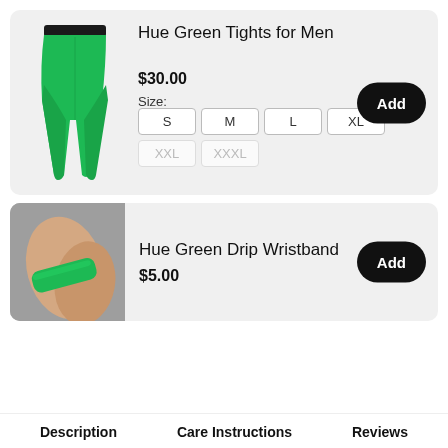[Figure (photo): Green tights/leggings for men with black waistband, shown front view on white background within a gray product card]
Hue Green Tights for Men
$30.00
Size: S M L XL XXL XXXL
[Figure (photo): Person wearing bright green wristband, close-up of hands/wrists with gray background]
Hue Green Drip Wristband
$5.00
Description   Care Instructions   Reviews